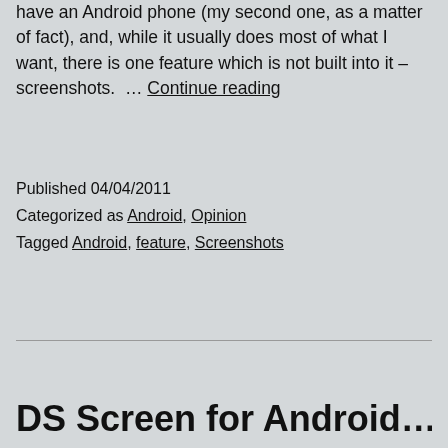have an Android phone (my second one, as a matter of fact), and, while it usually does most of what I want, there is one feature which is not built into it – screenshots.  … Continue reading
Published 04/04/2011
Categorized as Android, Opinion
Tagged Android, feature, Screenshots
DS Screen for Android…